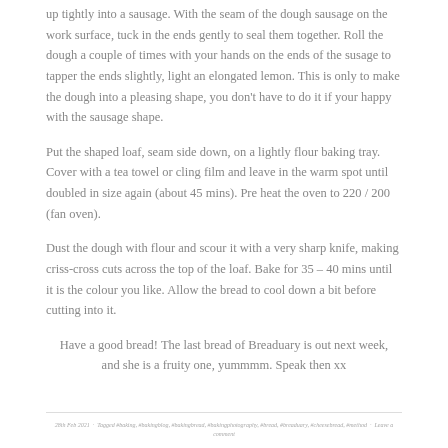up tightly into a sausage. With the seam of the dough sausage on the work surface, tuck in the ends gently to seal them together. Roll the dough a couple of times with your hands on the ends of the susage to tapper the ends slightly, light an elongated lemon. This is only to make the dough into a pleasing shape, you don't have to do it if your happy with the sausage shape.
Put the shaped loaf, seam side down, on a lightly flour baking tray. Cover with a tea towel or cling film and leave in the warm spot until doubled in size again (about 45 mins). Pre heat the oven to 220 / 200 (fan oven).
Dust the dough with flour and scour it with a very sharp knife, making criss-cross cuts across the top of the loaf. Bake for 35 – 40 mins until it is the colour you like. Allow the bread to cool down a bit before cutting into it.
Have a good bread! The last bread of Breaduary is out next week, and she is a fruity one, yummmm. Speak then xx
28th Feb 2021  ·  Tagged #baking, #bakingblog, #bakingbread, #bakingphotography, #bread, #breaduary, #cheesebread, #method  ·  Leave a comment